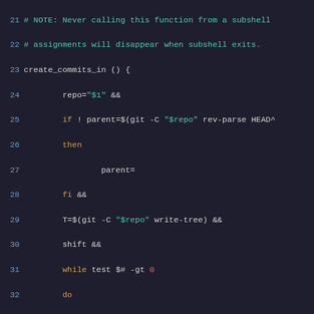[Figure (screenshot): Shell script source code showing a bash function create_commits_in with syntax highlighting. Lines 21-51 visible. Comments in teal, keywords in orange, strings in teal, numbers in red, plain code in white/gray on dark background.]